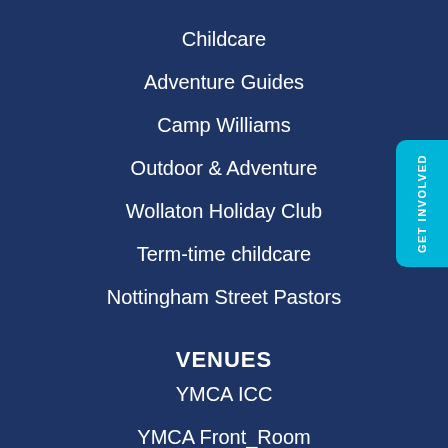Childcare
Adventure Guides
Camp Williams
Outdoor & Adventure
Wollaton Holiday Club
Term-time childcare
Nottingham Street Pastors
VENUES
YMCA ICC
YMCA Front_Room
GYM